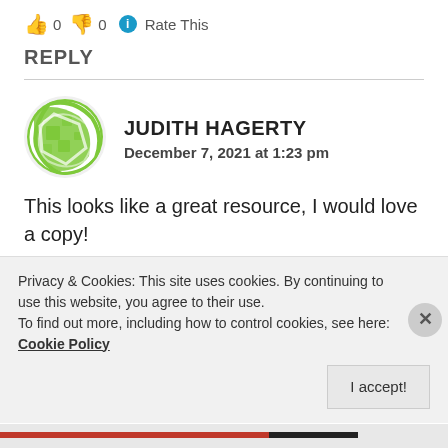[Figure (other): Thumbs up emoji, 0, thumbs down emoji, 0, info icon, Rate This]
REPLY
[Figure (photo): Green geometric sphere avatar for Judith Hagerty]
JUDITH HAGERTY
December 7, 2021 at 1:23 pm
This looks like a great resource, I would love a copy!
Liked by 1 person
Rate This (partial, obscured)
Privacy & Cookies: This site uses cookies. By continuing to use this website, you agree to their use.
To find out more, including how to control cookies, see here: Cookie Policy
I accept!